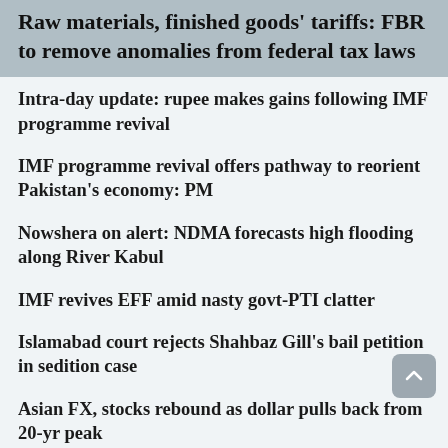Raw materials, finished goods' tariffs: FBR to remove anomalies from federal tax laws
Intra-day update: rupee makes gains following IMF programme revival
IMF programme revival offers pathway to reorient Pakistan's economy: PM
Nowshera on alert: NDMA forecasts high flooding along River Kabul
IMF revives EFF amid nasty govt-PTI clatter
Islamabad court rejects Shahbaz Gill's bail petition in sedition case
Asian FX, stocks rebound as dollar pulls back from 20-yr peak
Oil edges down as inflation expected to impact fuel demand